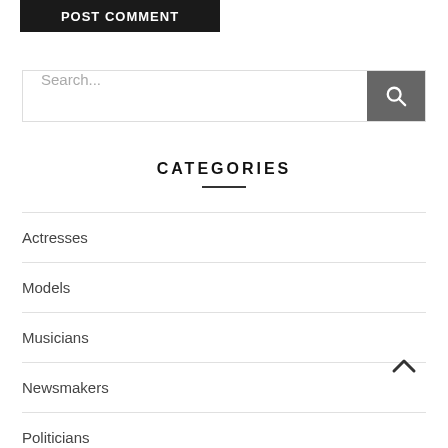[Figure (screenshot): POST COMMENT button — dark background with white bold uppercase text]
Search...
CATEGORIES
Actresses
Models
Musicians
Newsmakers
Politicians